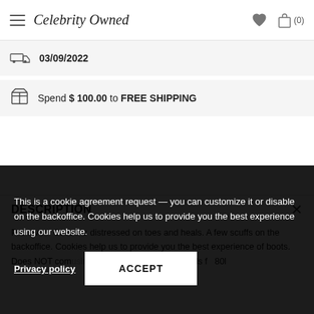Celebrity Owned
03/09/2022
Spend $ 100.00 to FREE SHIPPING
DESCRIPTION
Pre-loved. Suede is distressed on toes and heals. A few scuffs on the backoffice. Cookies help us to provide you the best experience of boots. Does NOT com using our website. ustbag. Retails f   80l
This is a cookie agreement request — you can customize it or disable on the backoffice. Cookies help us to provide you the best experience using our website.
Privacy policy
ACCEPT